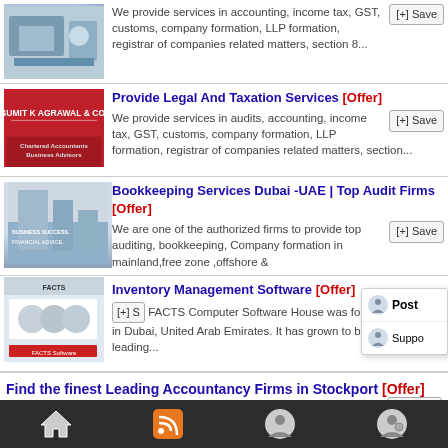[Figure (photo): Photo of person reviewing financial documents/charts]
We provide services in accounting, income tax, GST, customs, company formation, LLP formation, registrar of companies related matters, section 8...
Provide Legal And Taxation Services [Offer]
[Figure (photo): Red background logo: SUMIT K AGRAWAL & CO. Chartered Accountants | Business Advisors]
We provide services in audits, accounting, income tax, GST, customs, company formation, LLP formation, registrar of companies related matters, section...
Bookkeeping Services Dubai -UAE | Top Audit Firms [Offer]
[Figure (photo): Business success financial advice graphic with city background]
We are one of the authorized firms to provide top auditing, bookkeeping, Company formation in mainland,free zone ,offshore &
Inventory Management Software [Offer]
[Figure (screenshot): FACTS Computer Software House website screenshot with team photo]
FACTS Computer Software House was founded in 2002 in Dubai, United Arab Emirates. It has grown to become a world-leading...
Find the finest Leading Accountancy Firms in Stockport [Offer]